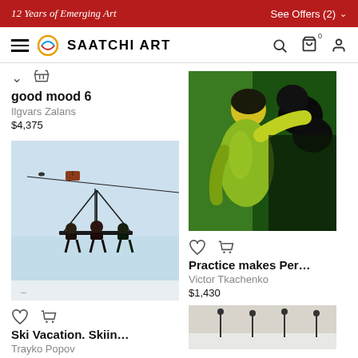12 Years of Emerging Art | See Offers (2)
SAATCHI ART navigation bar
good mood 6
Ilgvars Zalans
$4,375
[Figure (photo): Painting of people on a ski lift against a blue sky background]
Ski Vacation. Skiin…
Trayko Popov
$1,460
[Figure (photo): Colorful painting of a figure in green and yellow tones with dark background]
Practice makes Per…
Victor Tkachenko
$1,430
[Figure (photo): Partial view of another artwork at the bottom right, grayscale or muted tones]